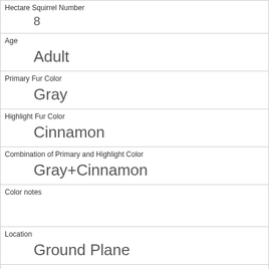| Hectare Squirrel Number | 8 |
| Age | Adult |
| Primary Fur Color | Gray |
| Highlight Fur Color | Cinnamon |
| Combination of Primary and Highlight Color | Gray+Cinnamon |
| Color notes |  |
| Location | Ground Plane |
| Above Ground Sighter Measurement | FALSE |
| Specific Location |  |
| Running | 0 |
| Chasing |  |